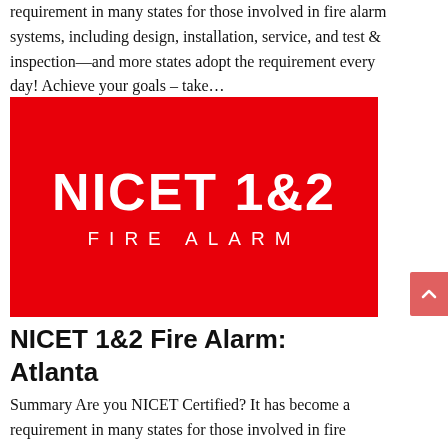requirement in many states for those involved in fire alarm systems, including design, installation, service, and test & inspection—and more states adopt the requirement every day! Achieve your goals – take…
[Figure (illustration): Red banner image with bold white text reading 'NICET 1&2' and below it in spaced letters 'FIRE ALARM']
NICET 1&2 Fire Alarm: Atlanta
Summary Are you NICET Certified? It has become a requirement in many states for those involved in fire alarm systems, including design, installation, service, and test & inspection—and more states adopt the